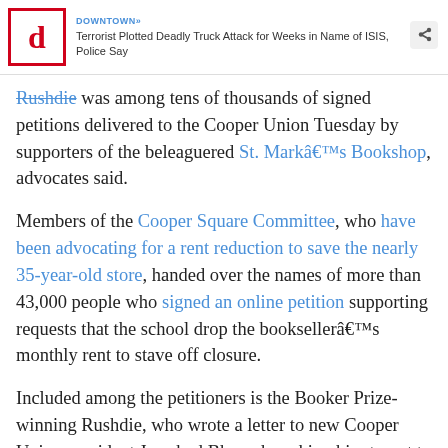DOWNTOWN» Terrorist Plotted Deadly Truck Attack for Weeks in Name of ISIS, Police Say
Rushdie was among tens of thousands of signed petitions delivered to the Cooper Union Tuesday by supporters of the beleaguered St. Markâ€™s Bookshop, advocates said.
Members of the Cooper Square Committee, who have been advocating for a rent reduction to save the nearly 35-year-old store, handed over the names of more than 43,000 people who signed an online petition supporting requests that the school drop the booksellerâ€™s monthly rent to stave off closure.
Included among the petitioners is the Booker Prize-winning Rushdie, who wrote a letter to new Cooper Union president Jamshed Bharucha asking him to not to